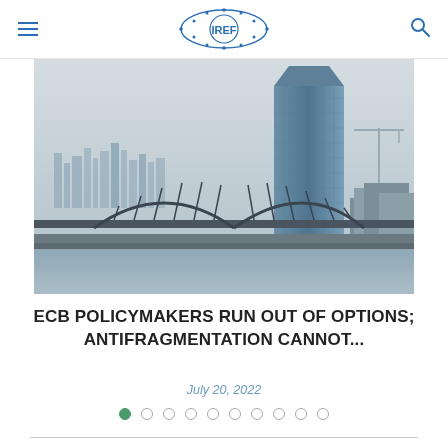IREF
[Figure (photo): Photograph of the European Central Bank (ECB) tower building in Frankfurt with a bridge over the Main river in the foreground and city skyline in the background, overcast sky]
ECB POLICYMAKERS RUN OUT OF OPTIONS; ANTIFRAGMENTATION CANNOT...
July 20, 2022